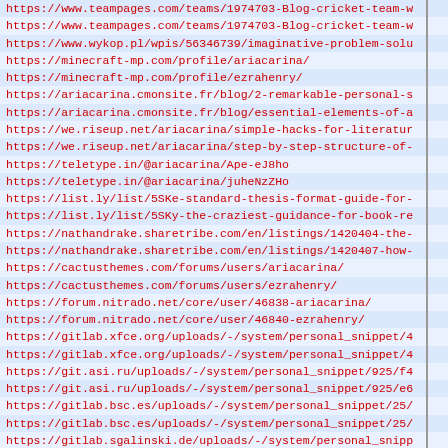https://www.teampages.com/teams/1974703-Blog-cricket-team-w
https://www.teampages.com/teams/1974703-Blog-cricket-team-w
https://www.wykop.pl/wpis/56346739/imaginative-problem-solu
https://minecraft-mp.com/profile/ariacarina/
https://minecraft-mp.com/profile/ezrahenry/
https://ariacarina.cmonsite.fr/blog/2-remarkable-personal-s
https://ariacarina.cmonsite.fr/blog/essential-elements-of-a
https://we.riseup.net/ariacarina/simple-hacks-for-literatur
https://we.riseup.net/ariacarina/step-by-step-structure-of-
https://teletype.in/@ariacarina/Ape-eJ8ho
https://teletype.in/@ariacarina/juheNzZHo
https://list.ly/list/5SKe-standard-thesis-format-guide-for-
https://list.ly/list/5SKy-the-craziest-guidance-for-book-re
https://nathandrake.sharetribe.com/en/listings/1420404-the-
https://nathandrake.sharetribe.com/en/listings/1420407-how-
https://cactusthemes.com/forums/users/ariacarina/
https://cactusthemes.com/forums/users/ezrahenry/
https://forum.nitrado.net/core/user/46838-ariacarina/
https://forum.nitrado.net/core/user/46840-ezrahenry/
https://gitlab.xfce.org/uploads/-/system/personal_snippet/4
https://gitlab.xfce.org/uploads/-/system/personal_snippet/4
https://git.asi.ru/uploads/-/system/personal_snippet/925/f4
https://git.asi.ru/uploads/-/system/personal_snippet/925/e6
https://gitlab.bsc.es/uploads/-/system/personal_snippet/25/
https://gitlab.bsc.es/uploads/-/system/personal_snippet/25/
https://gitlab.sgalinski.de/uploads/-/system/personal_snipp
https://gitlab.sgalinski.de/uploads/-/system/personal_snipp
https://gitlab.freepascal.org/uploads/-/system/personal_sni
https://gitlab.freepascal.org/uploads/-/system/personal_sni
https://eu-gb.git.cloud.ibm.com/dexterking7575/blogs/uplo